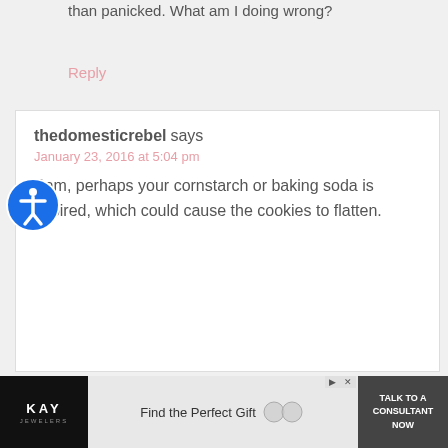than panicked. What am I doing wrong?
Reply
thedomesticrebel says
January 23, 2016 at 5:04 pm
Pam, perhaps your cornstarch or baking soda is expired, which could cause the cookies to flatten.
[Figure (logo): KAY Jewelers advertisement banner: Find the Perfect Gift - Talk to a Consultant Now]